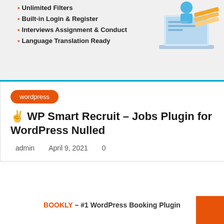[Figure (illustration): Top banner with bullet list features (Unlimited Filters, Built-in Login & Register, Interviews Assignment & Conduct, Language Translation Ready) and an isometric illustration of a laptop/documents on the right side]
Unlimited Filters
Built-in Login & Register
Interviews Assignment & Conduct
Language Translation Ready
wordpress
✌ WP Smart Recruit – Jobs Plugin for WordPress Nulled
admin   April 9, 2021   0
BOOKLY – #1 WordPress Booking Plugin